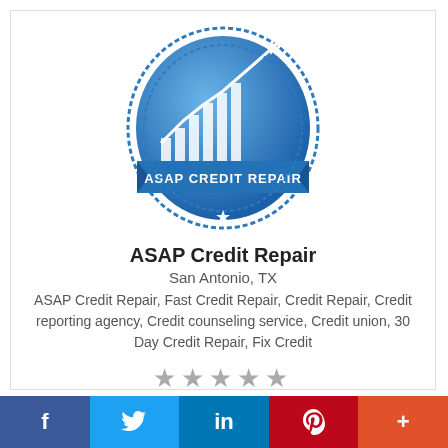[Figure (logo): ASAP Credit Repair circular badge logo in blue with a line/bar chart and upward arrow graphic inside an oval, with 'ASAP CREDIT REPAIR' text on a banner across the middle and a star at the bottom]
ASAP Credit Repair
San Antonio, TX
ASAP Credit Repair, Fast Credit Repair, Credit Repair, Credit reporting agency, Credit counseling service, Credit union, 30 Day Credit Repair, Fix Credit
[Figure (other): Five grey star rating icons]
f  (Twitter bird)  in  P  +